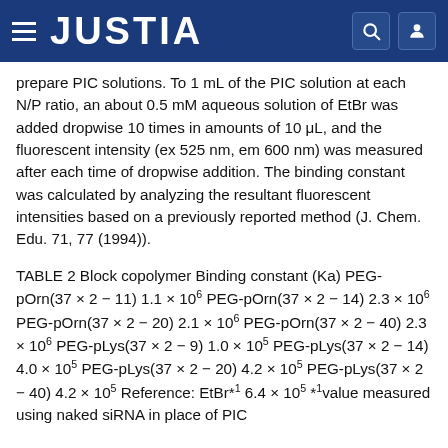JUSTIA
prepare PIC solutions. To 1 mL of the PIC solution at each N/P ratio, an about 0.5 mM aqueous solution of EtBr was added dropwise 10 times in amounts of 10 μL, and the fluorescent intensity (ex 525 nm, em 600 nm) was measured after each time of dropwise addition. The binding constant was calculated by analyzing the resultant fluorescent intensities based on a previously reported method (J. Chem. Edu. 71, 77 (1994)).
TABLE 2 Block copolymer Binding constant (Ka) PEG-pOrn(37 × 2 − 11) 1.1 × 10^6 PEG-pOrn(37 × 2 − 14) 2.3 × 10^6 PEG-pOrn(37 × 2 − 20) 2.1 × 10^6 PEG-pOrn(37 × 2 − 40) 2.3 × 10^6 PEG-pLys(37 × 2 − 9) 1.0 × 10^5 PEG-pLys(37 × 2 − 14) 4.0 × 10^5 PEG-pLys(37 × 2 − 20) 4.2 × 10^5 PEG-pLys(37 × 2 − 40) 4.2 × 10^5 Reference: EtBr*1 6.4 × 10^5 *1 value measured using naked siRNA in place of PIC